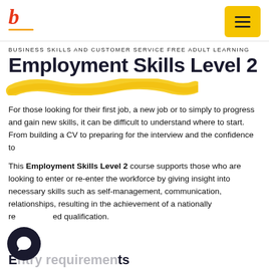b [logo] | menu button
BUSINESS SKILLS AND CUSTOMER SERVICE FREE ADULT LEARNING
Employment Skills Level 2
[Figure (illustration): Yellow brush stroke decorative element]
For those looking for their first job, a new job or to simply to progress and gain new skills, it can be difficult to understand where to start. From building a CV to preparing for the interview and the confidence to
This Employment Skills Level 2 course supports those who are looking to enter or re-enter the workforce by giving insight into necessary skills such as self-management, communication, relationships, resulting in the achievement of a nationally recognised qualification.
[Figure (illustration): Dark circular chat bubble icon in bottom left corner]
Entry requirements